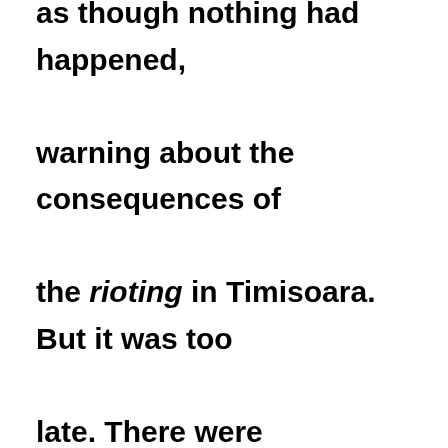as though nothing had happened, warning about the consequences of the rioting in Timisoara. But it was too late. There were thousands of people out on the streets that afternoon and evening with the same sense of burning grievance. They had realised